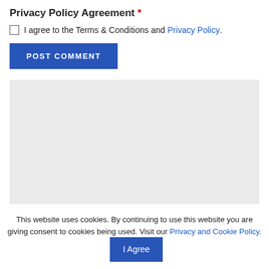Privacy Policy Agreement *
I agree to the Terms & Conditions and Privacy Policy.
POST COMMENT
[Figure (other): Gray placeholder box / advertisement area]
This website uses cookies. By continuing to use this website you are giving consent to cookies being used. Visit our Privacy and Cookie Policy. I Agree